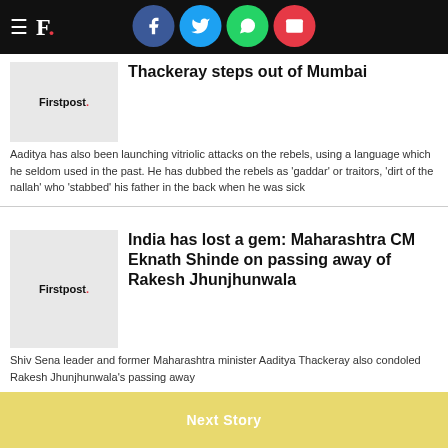Firstpost.
Thackeray steps out of Mumbai
Aaditya has also been launching vitriolic attacks on the rebels, using a language which he seldom used in the past. He has dubbed the rebels as 'gaddar' or traitors, 'dirt of the nallah' who 'stabbed' his father in the back when he was sick
India has lost a gem: Maharashtra CM Eknath Shinde on passing away of Rakesh Jhunjhunwala
Shiv Sena leader and former Maharashtra minister Aaditya Thackeray also condoled Rakesh Jhunjhunwala's passing away
Next Story